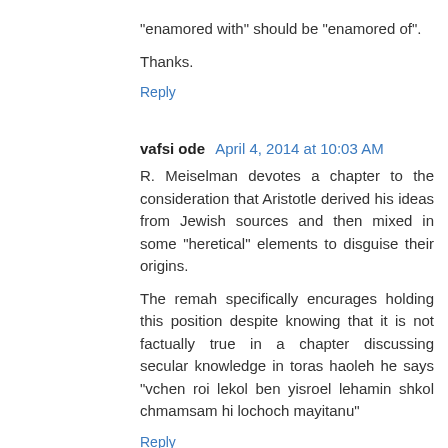"enamored with" should be "enamored of".
Thanks.
Reply
vafsi ode  April 4, 2014 at 10:03 AM
R. Meiselman devotes a chapter to the consideration that Aristotle derived his ideas from Jewish sources and then mixed in some "heretical" elements to disguise their origins.
The remah specifically encurages holding this position despite knowing that it is not factually true in a chapter discussing secular knowledge in toras haoleh he says "vchen roi lekol ben yisroel lehamin shkol chmamsam hi lochoch mayitanu"
Reply
student v  April 4, 2014 at 6:11 PM